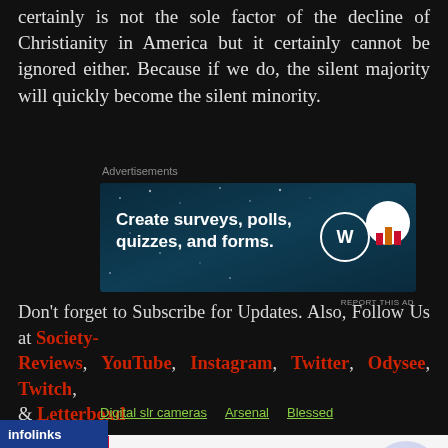certainly is not the sole factor of the decline of Christianity in America but it certainly cannot be ignored either. Because if we do, the silent majority will quickly become the silent minority.
[Figure (screenshot): Advertisement banner for WordPress surveys/polls/quizzes/forms tool with blue starry background and WordPress and analytics logos]
Don't forget to Subscribe for Updates. Also, Follow Us at Society-Reviews, YouTube, Instagram, Twitter, Odysee, Twitch, & Letterboxd
Digital slr cameras   Arsenal   Blessed
[Figure (screenshot): Infolinks bar at bottom left and Belk.com advertisement at bottom of page]